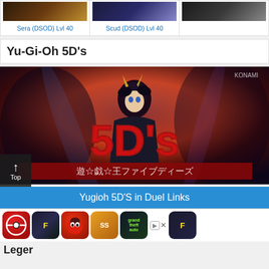Sera (DSOD) Lvl 40
Scud (DSOD) Lvl 40
Yu-Gi-Oh 5D's
[Figure (screenshot): Yu-Gi-Oh 5D's game splash screen showing anime character with dark hair and golden horned headpiece, large red 5DS logo, and Japanese text below]
Yugioh 5D'S in Duel Links
[Figure (screenshot): Advertisement row showing game icons: Pokemon, Fortnite, Angry Birds, Subway Surfers, GTA San Andreas, and another Fortnite icon with ad badge]
Leger